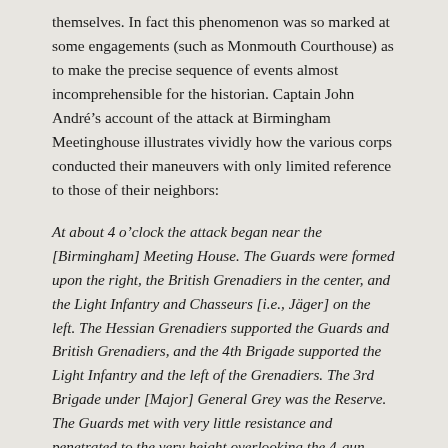themselves. In fact this phenomenon was so marked at some engagements (such as Monmouth Courthouse) as to make the precise sequence of events almost incomprehensible for the historian. Captain John André's account of the attack at Birmingham Meetinghouse illustrates vividly how the various corps conducted their maneuvers with only limited reference to those of their neighbors:
At about 4 o'clock the attack began near the [Birmingham] Meeting House. The Guards were formed upon the right, the British Grenadiers in the center, and the Light Infantry and Chasseurs [i.e., Jäger] on the left. The Hessian Grenadiers supported the Guards and British Grenadiers, and the 4th Brigade supported the Light Infantry and the left of the Grenadiers. The 3rd Brigade under [Major] General Grey was the Reserve. The Guards met with very little resistance and penetrated to the very height overlooking the 4-gun battery of the rebels at Chad's Ford, just as General Knyphausen had crossed. The